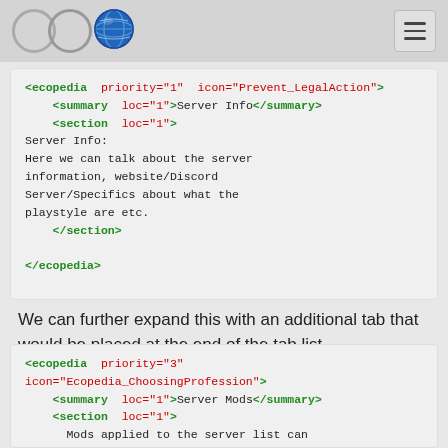ECO logo and navigation
[Figure (screenshot): Code block showing XML ecopedia element with priority=1, icon=Prevent_LegalAction, summary loc=1 Server Info, section loc=1 with server info text, closing section and ecopedia tags]
We can further expand this with an additional tab that would be placed at the end of the tab list.
[Figure (screenshot): Code block showing XML ecopedia element with priority=3, icon=Ecopedia_ChoosingProfession, summary loc=1 Server Mods, section loc=1, Mods applied to the server list can...]